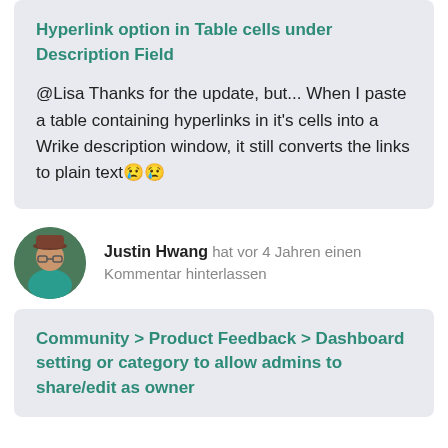Hyperlink option in Table cells under Description Field
@Lisa Thanks for the update, but... When I paste a table containing hyperlinks in it's cells into a Wrike description window, it still converts the links to plain text😢😢
Justin Hwang hat vor 4 Jahren einen Kommentar hinterlassen
Community > Product Feedback > Dashboard setting or category to allow admins to share/edit as owner